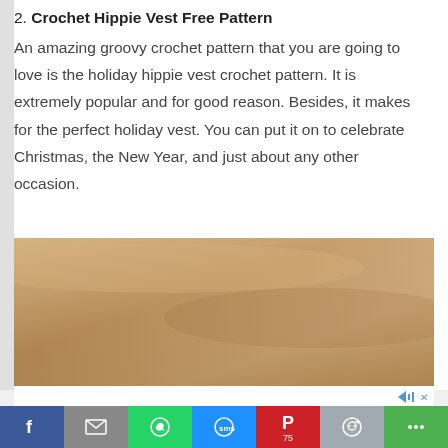2. Crochet Hippie Vest Free Pattern
An amazing groovy crochet pattern that you are going to love is the holiday hippie vest crochet pattern. It is extremely popular and for good reason. Besides, it makes for the perfect holiday vest. You can put it on to celebrate Christmas, the New Year, and just about any other occasion.
[Figure (photo): A close-up photo of a crocheted or textile surface with warm brown and tan tones.]
Social sharing bar with Facebook, Mail, WhatsApp, SMS, Pinterest (75), Reddit, and More buttons